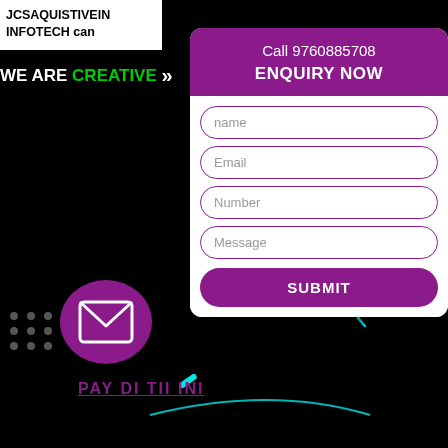JCSAQUISTIVEIN INFOTECH can
WE ARE CREATIVE »
Call 9760885708
ENQUIRY NOW
name
Email
Number
Message
SUBMIT
[Figure (illustration): Purple circular mail icon with white envelope symbol]
[Figure (illustration): 3x3 grid of dots in bottom left corner]
PAY DI TII INI
[Figure (illustration): Cyan tech decorations: gear/wheel, chain link, bracket shapes on black background]